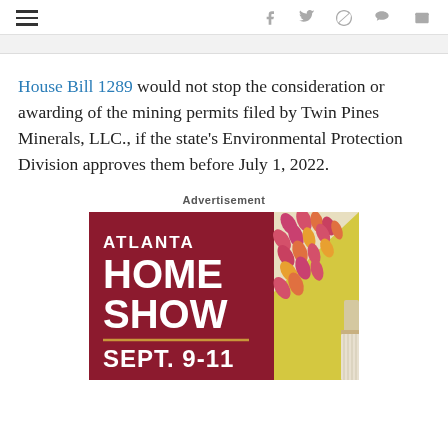≡  f  twitter  pinterest  reddit  mail
House Bill 1289 would not stop the consideration or awarding of the mining permits filed by Twin Pines Minerals, LLC., if the state's Environmental Protection Division approves them before July 1, 2022.
Advertisement
[Figure (illustration): Atlanta Home Show advertisement banner. Dark red/maroon background on left with white bold text: ATLANTA HOME SHOW SEPT. 9-11. Gold/yellow horizontal divider line. Right side has a decorative leaf pattern in pink/red/orange/yellow colors and a paint brush partially visible. Yellow diagonal accent.]